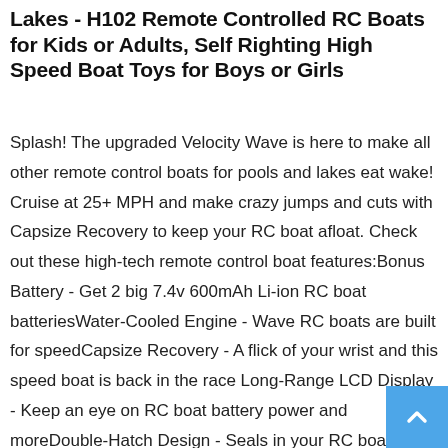Lakes - H102 Remote Controlled RC Boats for Kids or Adults, Self Righting High Speed Boat Toys for Boys or Girls
Splash! The upgraded Velocity Wave is here to make all other remote control boats for pools and lakes eat wake! Cruise at 25+ MPH and make crazy jumps and cuts with Capsize Recovery to keep your RC boat afloat. Check out these high-tech remote control boat features:Bonus Battery - Get 2 big 7.4v 600mAh Li-ion RC boat batteriesWater-Cooled Engine - Wave RC boats are built for speedCapsize Recovery - A flick of your wrist and this speed boat is back in the race Long-Range LCD Display - Keep an eye on RC boat battery power and moreDouble-Hatch Design - Seals in your RC boat engineEmergency Stop - Fast RC boats need good brakesCool Extras - Comes with dry-dock stand, nose guard, extra propeller and prop